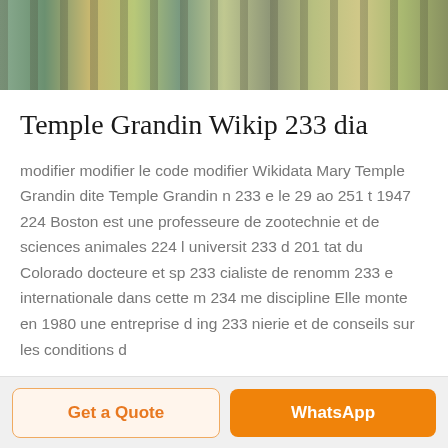[Figure (photo): Industrial machinery or bottling line with green bottles and metal equipment, cropped to a horizontal strip at the top of the page.]
Temple Grandin Wikip 233 dia
modifier modifier le code modifier Wikidata Mary Temple Grandin dite Temple Grandin n 233 e le 29 ao 251 t 1947 224 Boston est une professeure de zootechnie et de sciences animales 224 l universit 233 d 201 tat du Colorado docteure et sp 233 cialiste de renomm 233 e internationale dans cette m 234 me discipline Elle monte en 1980 une entreprise d ing 233 nierie et de conseils sur les conditions d
Get a Quote
WhatsApp